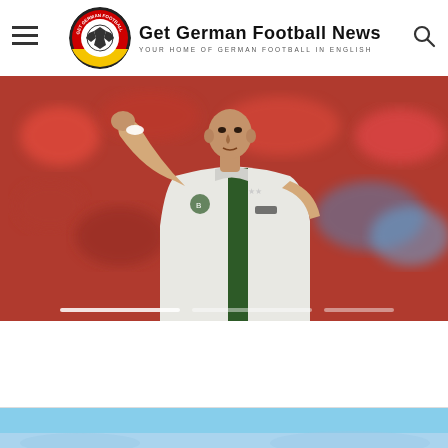[Figure (logo): Get German Football News logo with football icon and text 'Get German Football News - Your Home of German Football in English']
[Figure (photo): A football player in a white Borussia Mönchengladbach PUMA jersey with green stripe pointing/gesturing with his right arm raised, crowd of red-shirted fans in background]
[Figure (photo): Bottom partial image showing blue sky/stadium scene]